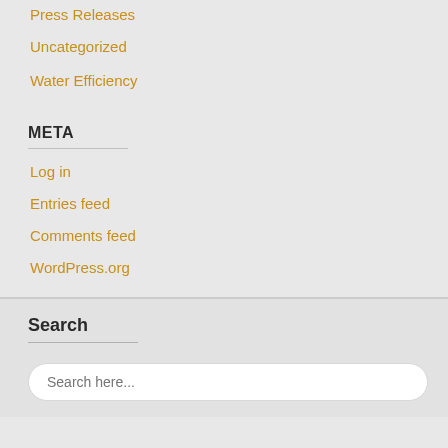Press Releases
Uncategorized
Water Efficiency
META
Log in
Entries feed
Comments feed
WordPress.org
Search
Search here...